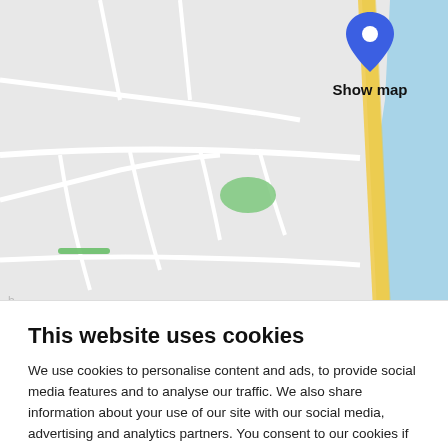[Figure (map): A map screenshot showing roads, a blue location pin marker, a green area, a yellow road/highway on the right, and a blue water body area on the top right. The text 'Show map' appears below the pin.]
This website uses cookies
We use cookies to personalise content and ads, to provide social media features and to analyse our traffic. We also share information about your use of our site with our social media, advertising and analytics partners. You consent to our cookies if you continue to use our website. Learn more
Show details
Allow all cookies